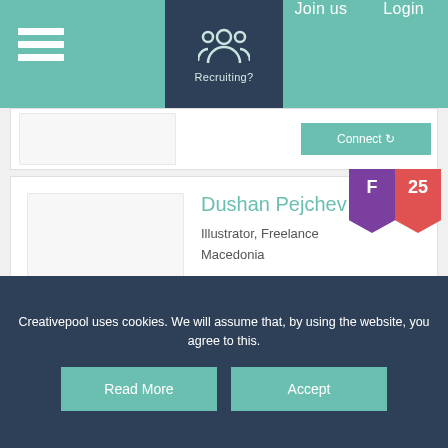Recruiting? | Join us | Login
Dushan Pejchev
Illustrator, Freelance
Macedonia
Connect
Maciek Michalski
Design Director / Founding Partner, Hitchcock Michalski
Creativepool uses cookies. We will assume that, by using the website, you agree to this.
Read More | Accept